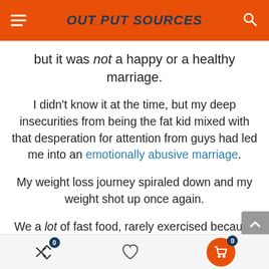OUT PUT SOURCES
but it was not a happy or a healthy marriage.
I didn't know it at the time, but my deep insecurities from being the fat kid mixed with that desperation for attention from guys had led me into an emotionally abusive marriage.
My weight loss journey spiraled down and my weight shot up once again.
We a lot of fast food, rarely exercised because we were glued to our TV and computer screens, and the